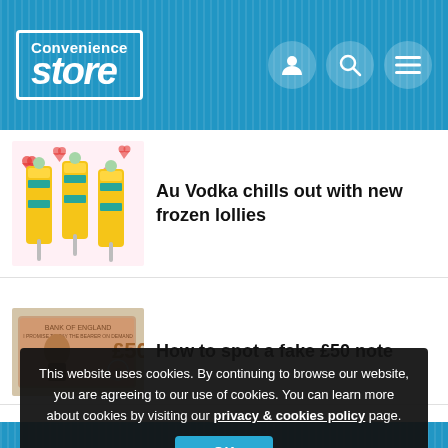Convenience Store
[Figure (photo): Frozen lolly ice cream products by Au Vodka, yellow packaging with teal accents, on a festive background]
Au Vodka chills out with new frozen lollies
[Figure (photo): A £50 polymer banknote featuring Alan Turing]
How to spot a fake £50 note
This website uses cookies. By continuing to browse our website, you are agreeing to our use of cookies. You can learn more about cookies by visiting our privacy & cookies policy page.